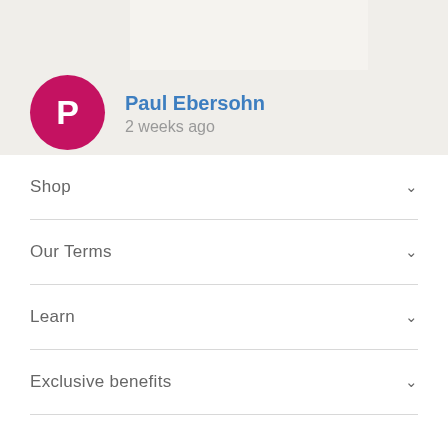[Figure (screenshot): User profile card with pink avatar circle showing letter P, username Paul Ebersohn in blue, and timestamp '2 weeks ago' in gray, on a beige/gray background]
Paul Ebersohn
2 weeks ago
Shop
Our Terms
Learn
Exclusive benefits